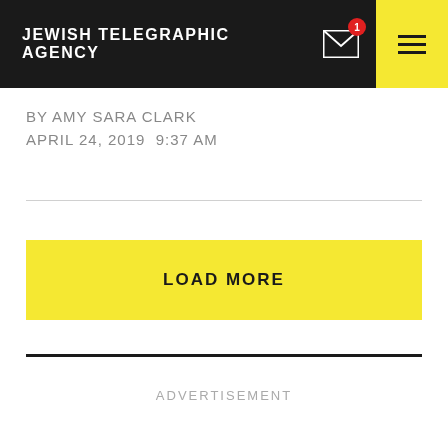JEWISH TELEGRAPHIC AGENCY
BY AMY SARA CLARK
APRIL 24, 2019  9:37 AM
LOAD MORE
ADVERTISEMENT